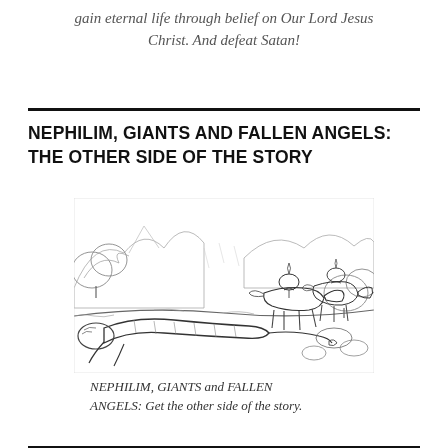gain eternal life through belief on Our Lord Jesus Christ. And defeat Satan!
NEPHILIM, GIANTS AND FALLEN ANGELS: THE OTHER SIDE OF THE STORY
[Figure (illustration): Pen-and-ink sketch of a large fallen figure lying on the ground while smaller figures on horseback ride past in a rocky, wooded landscape]
NEPHILIM, GIANTS and FALLEN ANGELS: Get the other side of the story.